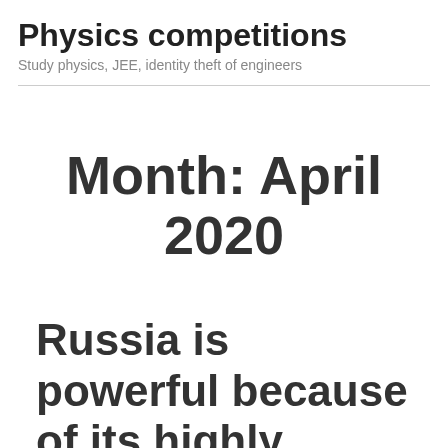Physics competitions
Study physics, JEE, identity theft of engineers
Month: April 2020
Russia is powerful because of its highly educated population, while indian government